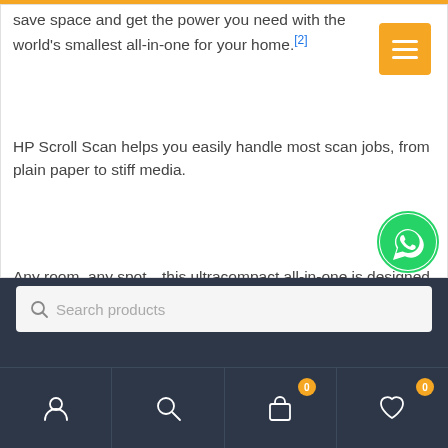save space and get the power you need with the world's smallest all-in-one for your home.[2]
HP Scroll Scan helps you easily handle most scan jobs, from plain paper to stiff media.
Any room, any spot—this ultracompact all-in-one is designed to fit where you need it.
Show your style with a sleek design and a variety of head-turning hues.
[Figure (screenshot): WhatsApp contact button (green circle with phone handset icon)]
Search products
[Figure (infographic): Bottom navigation bar with user, search, cart (badge 0), and wishlist (badge 0) icons on dark background]